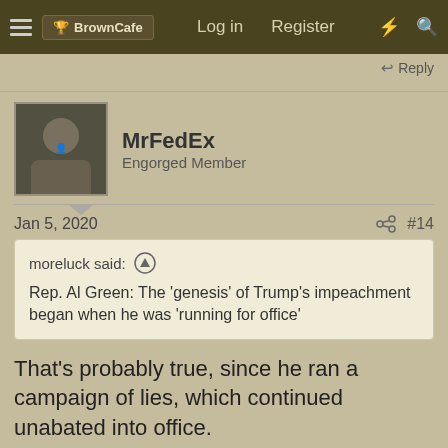BrownCafe  Log in  Register
Reply
MrFedEx
Engorged Member
Jan 5, 2020  #14
moreluck said: Rep. Al Green: The 'genesis' of Trump's impeachment began when he was 'running for office'
That's probably true, since he ran a campaign of lies, which continued unabated into office.
Reply